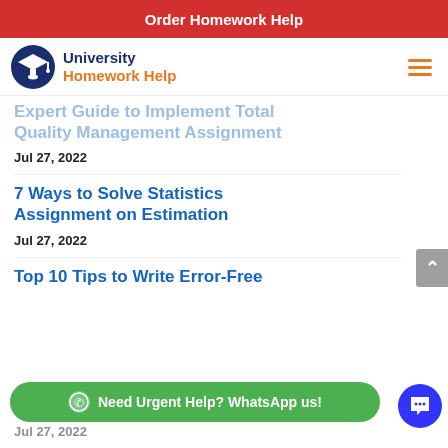Order Homework Help
[Figure (logo): University Homework Help logo with graduation cap icon, text 'University' in dark blue and 'Homework Help' in orange]
Expert Guide to Implement Total Quality Management Assignment
Jul 27, 2022
7 Ways to Solve Statistics Assignment on Estimation
Jul 27, 2022
Top 10 Tips to Write Error-Free
Jul 27, 2022
Need Urgent Help? WhatsApp us!